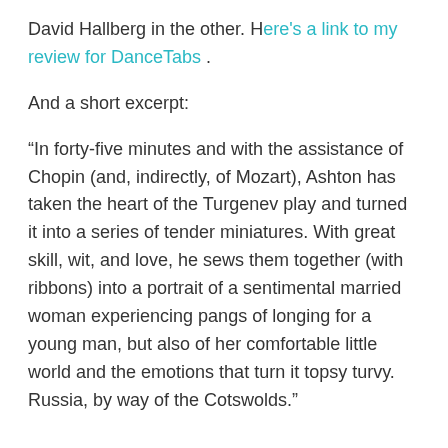David Hallberg in the other. Here's a link to my review for DanceTabs .
And a short excerpt:
“In forty-five minutes and with the assistance of Chopin (and, indirectly, of Mozart), Ashton has taken the heart of the Turgenev play and turned it into a series of tender miniatures. With great skill, wit, and love, he sews them together (with ribbons) into a portrait of a sentimental married woman experiencing pangs of longing for a young man, but also of her comfortable little world and the emotions that turn it topsy turvy. Russia, by way of the Cotswolds.”